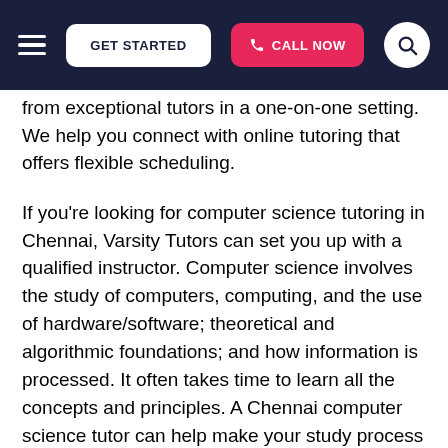GET STARTED | CALL NOW | [search]
from exceptional tutors in a one-on-one setting. We help you connect with online tutoring that offers flexible scheduling.
If you're looking for computer science tutoring in Chennai, Varsity Tutors can set you up with a qualified instructor. Computer science involves the study of computers, computing, and the use of hardware/software; theoretical and algorithmic foundations; and how information is processed. It often takes time to learn all the concepts and principles. A Chennai computer science tutor can help make your study process more efficient along with improving your motivation and confidence in learning and reviewing technical skills. In addition to refreshing course materials, your private instructor can help fill